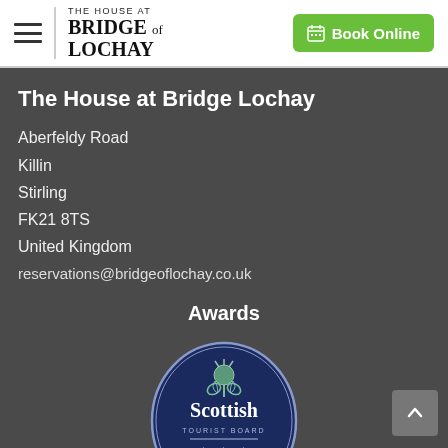THE HOUSE AT BRIDGE of LOCHAY — Book Online
The House at Bridge Lochay
Aberfeldy Road
Killin
Stirling
FK21 8TS
United Kingdom
reservations@bridgeoflochay.co.uk
Awards
[Figure (logo): Scottish Tourist Board oval badge with thistle emblem, three stars, and text 'EXCLUSIVE USE VENUE']